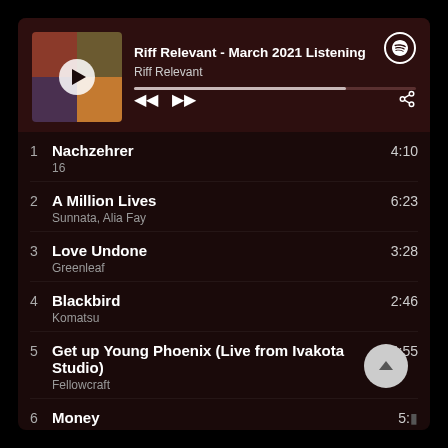[Figure (screenshot): Spotify player header showing album art collage with play button overlay, playlist title 'Riff Relevant - March 2021 Listening', artist 'Riff Relevant', progress bar, and playback controls]
1  Nachzehrer  4:10
16
2  A Million Lives  6:23
Sunnata, Alia Fay
3  Love Undone  3:28
Greenleaf
4  Blackbird  2:46
Komatsu
5  Get up Young Phoenix (Live from Ivakota Studio)  4:55
Fellowcraft
6  Money  5:…
Sasquatch
7  The Green Manalishi (With the Two Prong Cro…  5:14